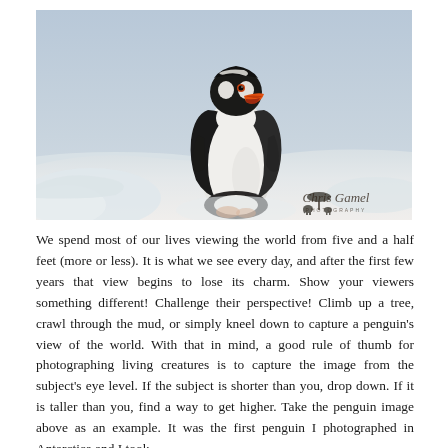[Figure (photo): A gentoo penguin photographed from a low angle against a pale grey-blue sky, standing on snow with ice chunks in the foreground. The penguin faces slightly left with its orange-red beak open. Black and white plumage visible. Watermark in bottom right reads 'Chris Gamel Photography' with a small logo of an acacia tree and elephants.]
We spend most of our lives viewing the world from five and a half feet (more or less).  It is what we see every day, and after the first few years that view begins to lose its charm. Show your viewers something different!  Challenge their perspective!  Climb up a tree, crawl through the mud, or simply kneel down to capture a penguin's view of the world.  With that in mind, a good rule of thumb for photographing living creatures is to capture the image from the subject's eye level.  If the subject is shorter than you, drop down.  If it is taller than you, find a way to get higher. Take the penguin image above as an example.  It was the first penguin I photographed in Antarctica and I took